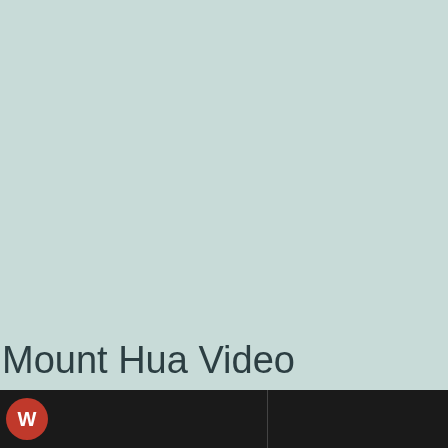[Figure (screenshot): Large light teal/mint green background area, upper portion of a video thumbnail or webpage screenshot]
Mount Hua Video
W [icon] [footer bar with dark background]